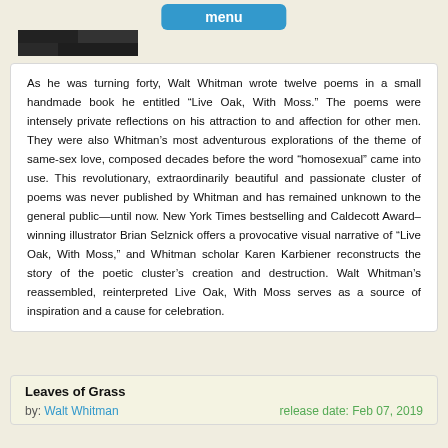menu
[Figure (photo): A dark grayscale image strip at the top left of the card, partially visible]
As he was turning forty, Walt Whitman wrote twelve poems in a small handmade book he entitled “Live Oak, With Moss.” The poems were intensely private reflections on his attraction to and affection for other men. They were also Whitman’s most adventurous explorations of the theme of same-sex love, composed decades before the word “homosexual” came into use. This revolutionary, extraordinarily beautiful and passionate cluster of poems was never published by Whitman and has remained unknown to the general public—until now. New York Times bestselling and Caldecott Award–winning illustrator Brian Selznick offers a provocative visual narrative of “Live Oak, With Moss,” and Whitman scholar Karen Karbiener reconstructs the story of the poetic cluster’s creation and destruction. Walt Whitman’s reassembled, reinterpreted Live Oak, With Moss serves as a source of inspiration and a cause for celebration.
Leaves of Grass
by: Walt Whitman   release date: Feb 07, 2019